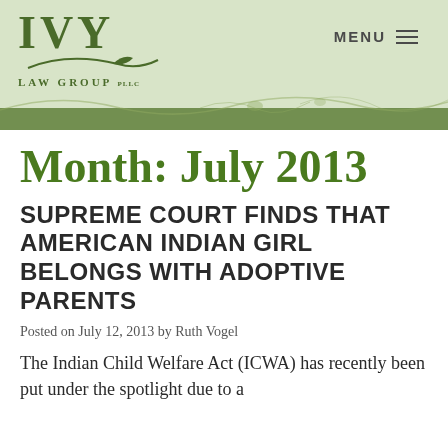[Figure (logo): Ivy Law Group logo with stylized IVY text and leaf graphic, green color scheme]
MENU
Month: July 2013
SUPREME COURT FINDS THAT AMERICAN INDIAN GIRL BELONGS WITH ADOPTIVE PARENTS
Posted on July 12, 2013 by Ruth Vogel
The Indian Child Welfare Act (ICWA) has recently been put under the spotlight due to a